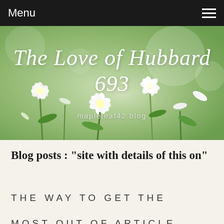Menu
[Figure (photo): Hero banner with blurred white flowers and green leaves background. Cursive script title 'The Love of Hubbard 693' in white overlaid on image, with subtitle 'mapleleaf42 blog' below.]
The Love of Hubbard 693
mapleleaf42 blog
Blog posts : "site with details of this on"
THE WAY TO GET THE MOST OUT OF ARTICLE